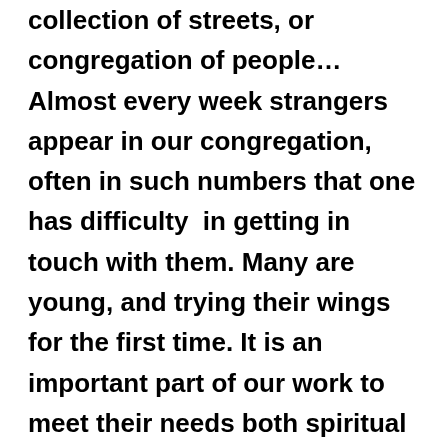collection of streets, or congregation of people… Almost every week strangers appear in our congregation, often in such numbers that one has difficulty in getting in touch with them. Many are young, and trying their wings for the first time. It is an important part of our work to meet their needs both spiritual and social, to provide them with a place where they may find friends and feel at home.